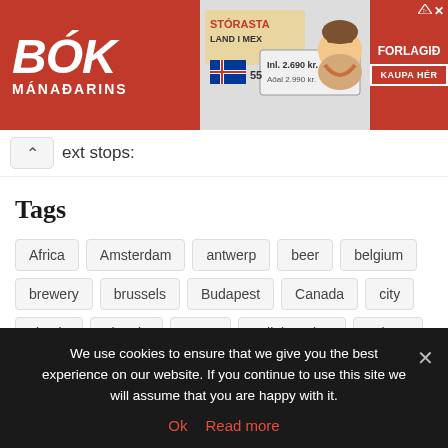[Figure (illustration): Advertisement banner for 'Bók Mánaðarins' (Book of the Month) featuring red background with white text, central product image with Icelandic flag and price tag showing 'Inl. 2.690 kr. Aðal 2.990 kr.', Viking character illustration, and Forlagið logo with 'KAUPA HÉR' call to action button.]
ext stops:
Tags
Africa
Amsterdam
antwerp
beer
belgium
brewery
brussels
Budapest
Canada
city
citytrip
city trip
coast
collaboration
culture
drinks
Egypt
Europe
food
france
hiking
hotel
iceland
Italy
itinerary
We use cookies to ensure that we give you the best experience on our website. If you continue to use this site we will assume that you are happy with it.
Ok  Read more